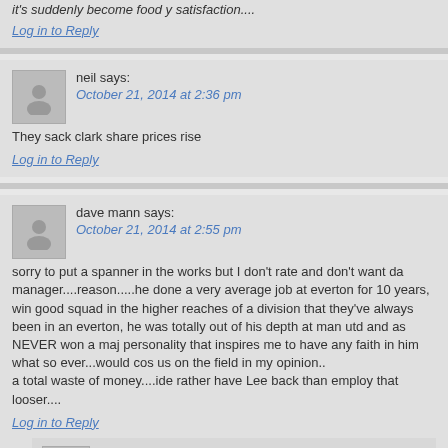Log in to Reply
neil says: October 21, 2014 at 2:36 pm
They sack clark share prices rise
Log in to Reply
dave mann says: October 21, 2014 at 2:55 pm
sorry to put a spanner in the works but I don't rate and don't want da manager....reason.....he done a very average job at everton for 10 years, win good squad in the higher reaches of a division that they've always been in an everton, he was totally out of his depth at man utd and as NEVER won a maj personality that inspires me to have any faith in him what so ever...would cos us on the field in my opinion.. a total waste of money....ide rather have Lee back than employ that looser....
Log in to Reply
StaffsBlue says: October 21, 2014 at 3:18 pm
It's a fair assessment dave. Although, he did a decent job at Presto